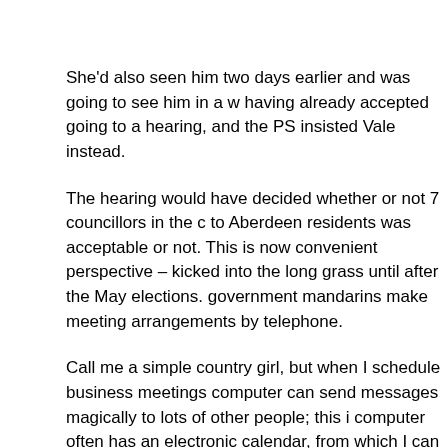She'd also seen him two days earlier and was going to see him in a w having already accepted going to a hearing, and the PS insisted Vale instead.
The hearing would have decided whether or not 7 councillors in the c to Aberdeen residents was acceptable or not. This is now convenient perspective – kicked into the long grass until after the May elections. government mandarins make meeting arrangements by telephone.
Call me a simple country girl, but when I schedule business meetings computer can send messages magically to lots of other people; this i computer often has an electronic calendar, from which I can send ou
Believe it or not, the electronic calendar will save meeting invitations already have something in the diary!
I think we may chip in and buy Ms Watts such a computer. She also s her diary appointments on her own with no help. We also have these but I guess she doesn't have one. Looks like she's doing as good an